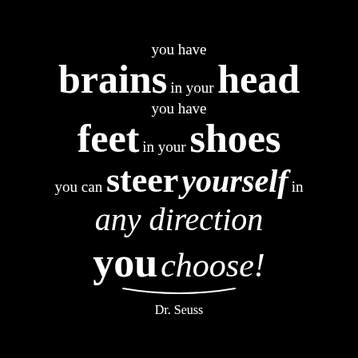you have brains in your head you have feet in your shoes you can steer yourself in any direction you choose! Dr. Seuss